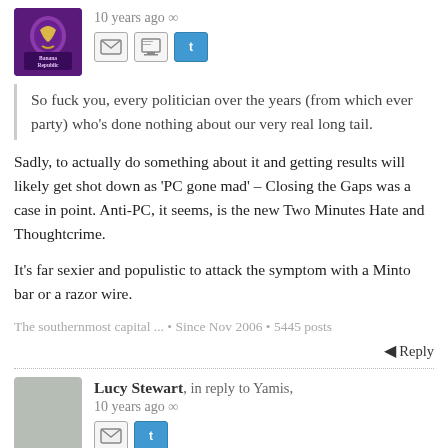[Figure (photo): User avatar showing Banana Republic logo on purple/maroon background]
10 years ago ∞
[Figure (other): Email, monitor, and Twitter icon buttons]
So fuck you, every politician over the years (from which ever party) who's done nothing about our very real long tail.
Sadly, to actually do something about it and getting results will likely get shot down as 'PC gone mad' – Closing the Gaps was a case in point. Anti-PC, it seems, is the new Two Minutes Hate and Thoughtcrime.
It's far sexier and populistic to attack the symptom with a Minto bar or a razor wire.
The southernmost capital ... • Since Nov 2006 • 5445 posts
Reply
[Figure (photo): Gray avatar placeholder with speech bubble tail for Lucy Stewart]
Lucy Stewart, in reply to Yamis, 10 years ago ∞
[Figure (other): Email and Twitter icon buttons]
On primary schools though, I'd hate for people to ...